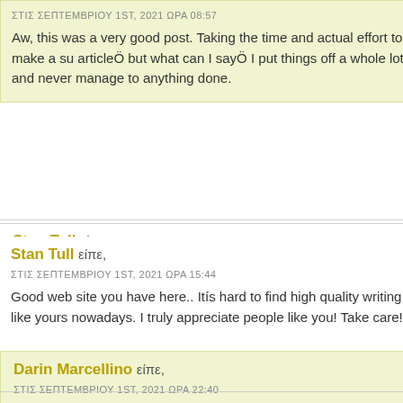ΣΤΙΣ ΣΕΠΤΕΜΒΡΙΟΥ 1ST, 2021 ΩΡΑ 08:57
Aw, this was a very good post. Taking the time and actual effort to make a su articleÖ but what can I sayÖ I put things off a whole lot and never manage to anything done.
Stan Tull είπε,
ΣΤΙΣ ΣΕΠΤΕΜΒΡΙΟΥ 1ST, 2021 ΩΡΑ 15:44
Good web site you have here.. Itís hard to find high quality writing like yours nowadays. I truly appreciate people like you! Take care!!
Darin Marcellino είπε,
ΣΤΙΣ ΣΕΠΤΕΜΒΡΙΟΥ 1ST, 2021 ΩΡΑ 22:40
Having read this I thought it was rather enlightening. I appreciate you spend some time and energy to put this short article together. I once again find mys personally spending way too much time both reading and posting comments. But so what, it was still worthwhile!
Joan Castelli είπε,
ΣΤΙΣ ΣΕΠΤΕΜΒΡΙΟΥ 2ND, 2021 ΩΡΑ 01:26